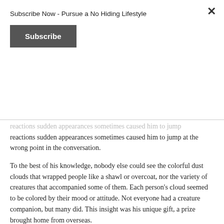Subscribe Now - Pursue a No Hiding Lifestyle
Subscribe
reactions sudden appearances sometimes caused him to jump at the wrong point in the conversation.
To the best of his knowledge, nobody else could see the colorful dust clouds that wrapped people like a shawl or overcoat, nor the variety of creatures that accompanied some of them. Each person's cloud seemed to be colored by their mood or attitude. Not everyone had a creature companion, but many did. This insight was his unique gift, a prize brought home from overseas.
"Don't worry so much," Ash could still hear his doctor's advice from their last session a few weeks earlier. "We're just beginning to understand PTSD and many veterans come back with hallucinations. The mind is a marvelous adapter to stress. As long as these phantoms do not interrupt your daily work, or